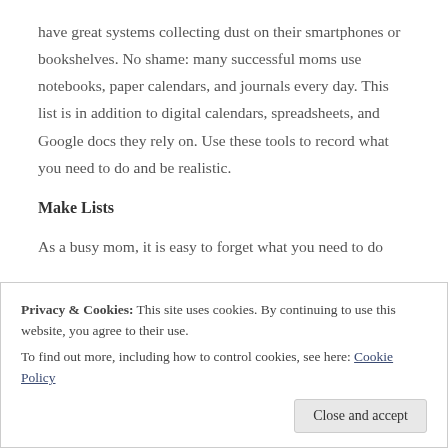have great systems collecting dust on their smartphones or bookshelves. No shame: many successful moms use notebooks, paper calendars, and journals every day. This list is in addition to digital calendars, spreadsheets, and Google docs they rely on. Use these tools to record what you need to do and be realistic.
Make Lists
As a busy mom, it is easy to forget what you need to do
Privacy & Cookies: This site uses cookies. By continuing to use this website, you agree to their use.
To find out more, including how to control cookies, see here: Cookie Policy